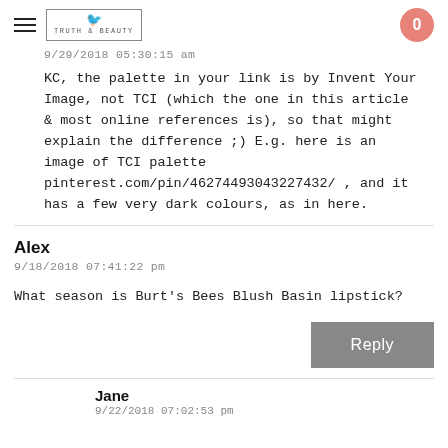Truth & Beauty — 0
9/29/2018 05:30:15 am
KC, the palette in your link is by Invent Your Image, not TCI (which the one in this article & most online references is), so that might explain the difference ;) E.g. here is an image of TCI palette pinterest.com/pin/46274493043227432/ , and it has a few very dark colours, as in here.
Alex
9/18/2018 07:41:22 pm
What season is Burt's Bees Blush Basin lipstick?
Reply
Jane
9/22/2018 07:02:53 pm